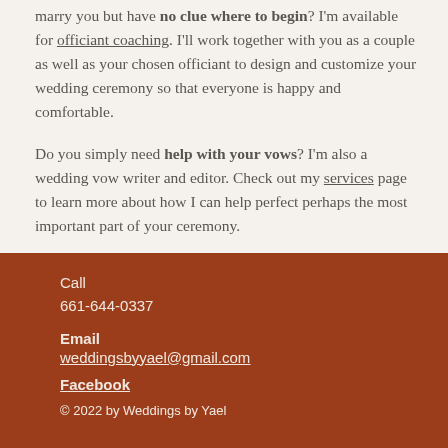marry you but have no clue where to begin? I'm available for officiant coaching. I'll work together with you as a couple as well as your chosen officiant to design and customize your wedding ceremony so that everyone is happy and comfortable.
Do you simply need help with your vows? I'm also a wedding vow writer and editor. Check out my services page to learn more about how I can help perfect perhaps the most important part of your ceremony.
Please contact me by emailing weddingsbyyael@gmail.com.
Call
661-644-0337

Email
weddingsbyyael@gmail.com

Facebook

© 2022 by Weddings by Yael